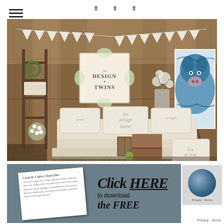hamburger menu icon
[Figure (photo): Farmhouse/rustic styled vignette with a white slipcovered sofa, decorative pillows reading 'the design twins', a white fringed throw blanket, bunting flags, a ladder shelf with greenery, floral arrangements, vintage trunks, a blue cow painting on an easel, and a 'joie de vivre' pillow. A 'The Design Twins' logo sign hangs on a wood plank backdrop.]
[Figure (photo): Bottom banner section with gray background showing a white cheat sheet document on the left and 'Click HERE to download the FREE' text in script/bold on the right with a reCAPTCHA widget partially visible.]